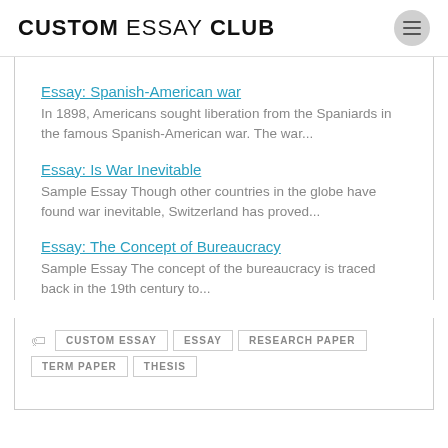CUSTOM ESSAY CLUB
Essay: Spanish-American war
In 1898, Americans sought liberation from the Spaniards in the famous Spanish-American war. The war...
Essay: Is War Inevitable
Sample Essay Though other countries in the globe have found war inevitable, Switzerland has proved...
Essay: The Concept of Bureaucracy
Sample Essay The concept of the bureaucracy is traced back in the 19th century to...
CUSTOM ESSAY  ESSAY  RESEARCH PAPER  TERM PAPER  THESIS